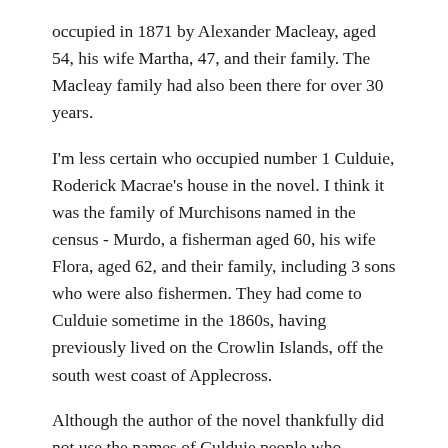occupied in 1871 by Alexander Macleay, aged 54, his wife Martha, 47, and their family. The Macleay family had also been there for over 30 years.
I'm less certain who occupied number 1 Culduie, Roderick Macrae's house in the novel. I think it was the family of Murchisons named in the census - Murdo, a fisherman aged 60, his wife Flora, aged 62, and their family, including 3 sons who were also fishermen. They had come to Culduie sometime in the 1860s, having previously lived on the Crowlin Islands, off the south west coast of Applecross.
Although the author of the novel thankfully did not use the names of Culduie people who actually lived there in 1869 (he told us he selected 19th century Applecross surnames based on a visit to the churchyard), there were in fact two Macrae families in Culduie at the time - but no Roderick Macrae. There was a fisherman named John Macrae and his